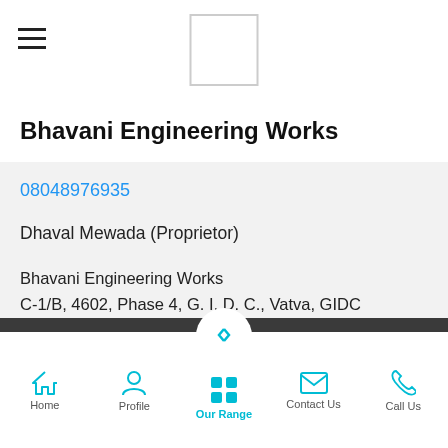Bhavani Engineering Works
08048976935
Dhaval Mewada (Proprietor)
Bhavani Engineering Works
C-1/B, 4602, Phase 4, G. I. D. C., Vatva, GIDC Vatwa, Ahmedabad - 382445, Gujarat, India
Get Directions
Home  Profile  Our Range  Contact Us  Call Us